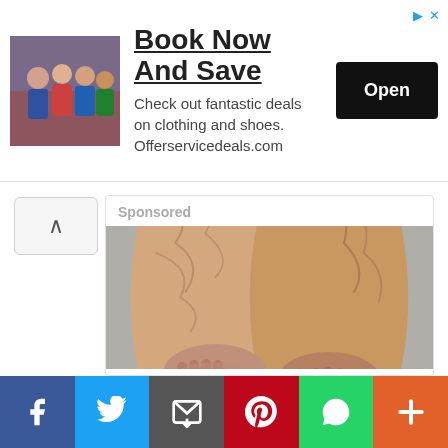[Figure (infographic): Advertisement banner: Book Now And Save — Check out fantastic deals on clothing and shoes. Offerservicedeals.com. Open button. Triangle/arrow ad icons top right.]
[Figure (photo): Sponsored card containing a photo of cellulite on legs/thighs against grey background.]
[Figure (infographic): Social media sharing bar at bottom: Facebook (blue), Twitter (light blue), Email (dark grey), Pinterest (red), WhatsApp (green), More (orange).]